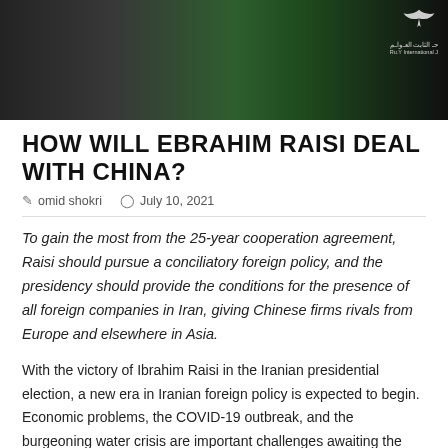[Figure (photo): Photo banner showing people in dark clothing with a green background, and a logo in the top right corner with Arabic text and a bird/eagle icon.]
HOW WILL EBRAHIM RAISI DEAL WITH CHINA?
omid shokri   July 10, 2021
To gain the most from the 25-year cooperation agreement, Raisi should pursue a conciliatory foreign policy, and the presidency should provide the conditions for the presence of all foreign companies in Iran, giving Chinese firms rivals from Europe and elsewhere in Asia.
With the victory of Ibrahim Raisi in the Iranian presidential election, a new era in Iranian foreign policy is expected to begin. Economic problems, the COVID-19 outbreak, and the burgeoning water crisis are important challenges awaiting the new administration. The possibility of a renewed nuclear deal between Iran and the United States could, in the short term, lead to a relative improvement in Iran's economic situation, with a gradual return to oil sales and the release of some of Iran's frozen assets.
To secure its long-term well-being, however, Iran has increasingly turned to